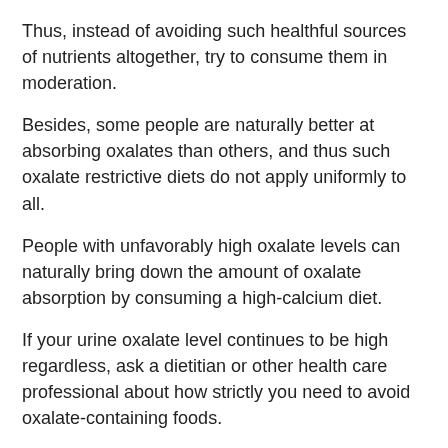Thus, instead of avoiding such healthful sources of nutrients altogether, try to consume them in moderation.
Besides, some people are naturally better at absorbing oxalates than others, and thus such oxalate restrictive diets do not apply uniformly to all.
People with unfavorably high oxalate levels can naturally bring down the amount of oxalate absorption by consuming a high-calcium diet.
If your urine oxalate level continues to be high regardless, ask a dietitian or other health care professional about how strictly you need to avoid oxalate-containing foods.
All in all, eliminating oxalate-rich foods from your diet alone will not prevent calcium oxalate kidney stones from forming and will only give you a false sense of security.